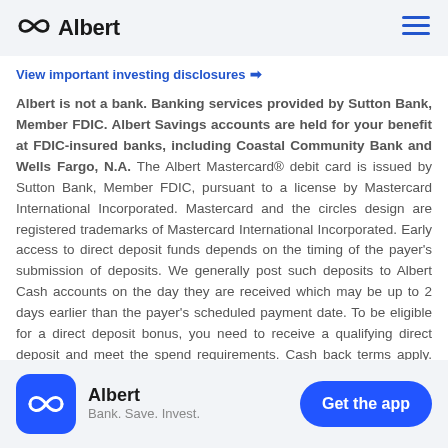Albert (logo) | hamburger menu
View important investing disclosures →
Albert is not a bank. Banking services provided by Sutton Bank, Member FDIC. Albert Savings accounts are held for your benefit at FDIC-insured banks, including Coastal Community Bank and Wells Fargo, N.A. The Albert Mastercard® debit card is issued by Sutton Bank, Member FDIC, pursuant to a license by Mastercard International Incorporated. Mastercard and the circles design are registered trademarks of Mastercard International Incorporated. Early access to direct deposit funds depends on the timing of the payer's submission of deposits. We generally post such deposits to Albert Cash accounts on the day they are received which may be up to 2 days earlier than the payer's scheduled payment date. To be eligible for a direct deposit bonus, you need to receive a qualifying direct deposit and meet the spend requirements. Cash back terms apply. See app for details
Albert – Bank. Save. Invest. | Get the app